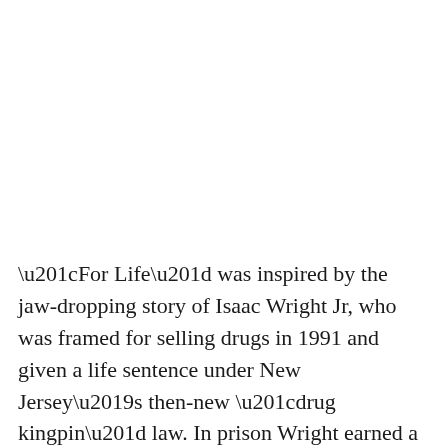“For Life” was inspired by the jaw-dropping story of Isaac Wright Jr, who was framed for selling drugs in 1991 and given a life sentence under New Jersey’s then-new “drug kingpin” law. In prison Wright earned a law degree and worked as a prison paralegal who won freedom or reduced sentences for more than 20 other inmates. Wright eventually secured his own exoneration after seven years